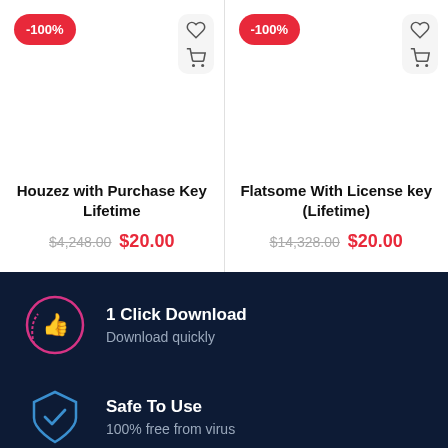-100%
Houzez with Purchase Key Lifetime
$4,248.00 $20.00
-100%
Flatsome With License key (Lifetime)
$14,328.00 $20.00
1 Click Download
Download quickly
Safe To Use
100% free from virus